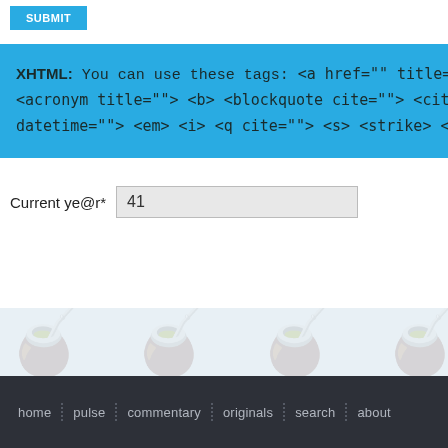Submit
XHTML: You can use these tags: <a href="" title=""> <a <acronym title=""> <b> <blockquote cite=""> <cit datetime=""> <em> <i> <q cite=""> <s> <strike> <
Current ye@r*  41
home | pulse | commentary | originals | search | about